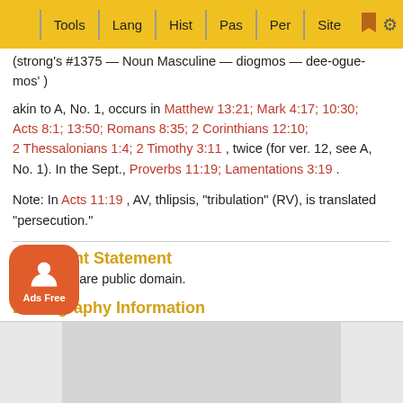Tools | Lang | Hist | Pas | Per | Site
(strong's #1375 — Noun Masculine — diogmos — dee-ogue-mos') akin to A, No. 1, occurs in Matthew 13:21; Mark 4:17; 10:30; Acts 8:1; 13:50; Romans 8:35; 2 Corinthians 12:10; 2 Thessalonians 1:4; 2 Timothy 3:11, twice (for ver. 12, see A, No. 1). In the Sept., Proverbs 11:19; Lamentations 3:19.
Note: In Acts 11:19, AV, thlipsis, "tribulation" (RV), is translated "persecution."
Copyright Statement
These files are public domain.
Bibliography Information
s, W. E., M. A. Entry for 'Persecute, Persecution'. Vine's ository Dictionary of NT Words. https://www.studylight.org/dic tionaries/eng/ved/p/persecute-persecution.html. 1940.